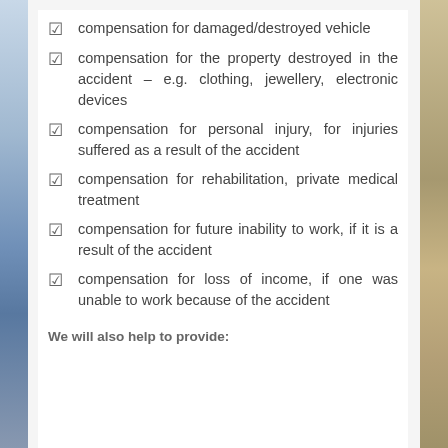compensation for damaged/destroyed vehicle
compensation for the property destroyed in the accident – e.g. clothing, jewellery, electronic devices
compensation for personal injury, for injuries suffered as a result of the accident
compensation for rehabilitation, private medical treatment
compensation for future inability to work, if it is a result of the accident
compensation for loss of income, if one was unable to work because of the accident
We will also help to provide: